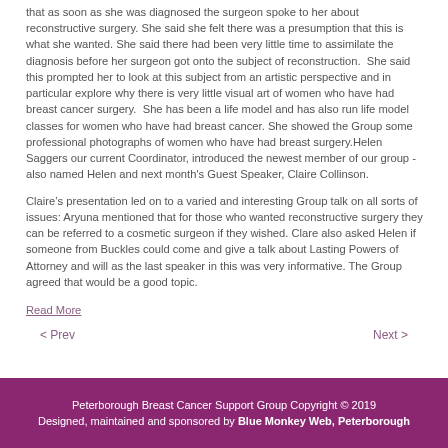that as soon as she was diagnosed the surgeon spoke to her about reconstructive surgery. She said she felt there was a presumption that this is what she wanted. She said there had been very little time to assimilate the diagnosis before her surgeon got onto the subject of reconstruction.  She said this prompted her to look at this subject from an artistic perspective and in particular explore why there is very little visual art of women who have had breast cancer surgery.  She has been a life model and has also run life model classes for women who have had breast cancer. She showed the Group some professional photographs of women who have had breast surgery.Helen Saggers our current Coordinator, introduced the newest member of our group -also named Helen and next month's Guest Speaker, Claire Collinson.
Claire's presentation led on to a varied and interesting Group talk on all sorts of issues: Aryuna mentioned that for those who wanted reconstructive surgery they can be referred to a cosmetic surgeon if they wished. Clare also asked Helen if someone from Buckles could come and give a talk about Lasting Powers of Attorney and will as the last speaker in this was very informative. The Group agreed that would be a good topic.
Read More
< Prev
Next >
Peterborough Breast Cancer Support Group Copyright © 2019
Designed, maintained and sponsored by Blue Monkey Web, Peterborough